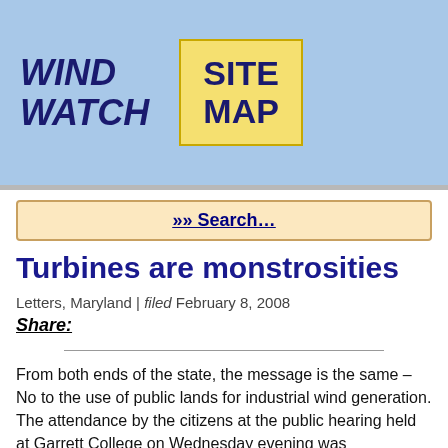WIND WATCH | SITE MAP
»» Search…
Turbines are monstrosities
Letters, Maryland | filed February 8, 2008
Share:
From both ends of the state, the message is the same – No to the use of public lands for industrial wind generation. The attendance by the citizens at the public hearing held at Garrett College on Wednesday evening was extraordinary, both in the number of citizens that attended and the testimony given. In fact, I heard the comment